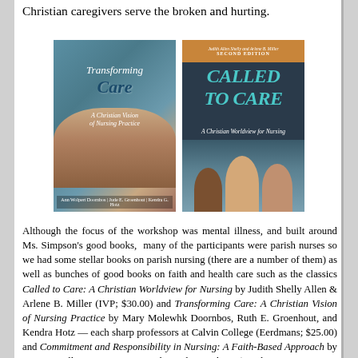Christian caregivers serve the broken and hurting.
[Figure (photo): Book cover: Transforming Care: A Christian Vision of Nursing Practice — shows hands caring for a patient]
[Figure (photo): Book cover: Called to Care: A Christian Worldview for Nursing, Second Edition — shows three nurses]
Although the focus of the workshop was mental illness, and built around Ms. Simpson's good books,  many of the participants were parish nurses so we had some stellar books on parish nursing (there are a number of them) as well as bunches of good books on faith and health care such as the classics Called to Care: A Christian Worldview for Nursing by Judith Shelly Allen & Arlene B. Miller (IVP; $30.00) and Transforming Care: A Christian Vision of Nursing Practice by Mary Molewhk Doornbos, Ruth E. Groenhout, and Kendra Hotz — each sharp professors at Calvin College (Eerdmans; $25.00) and Commitment and Responsibility in Nursing: A Faith-Based Approach by Bart Cusveller, Agneta Sutton and Dsnal O'Mathzna (Dordt